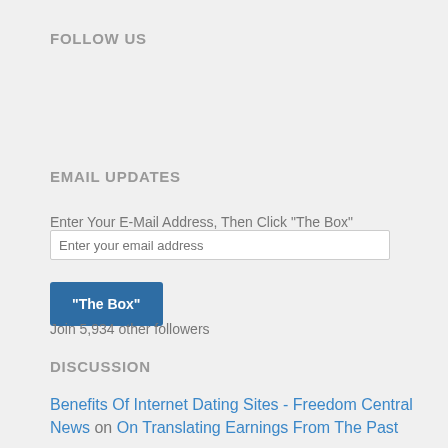FOLLOW US
EMAIL UPDATES
Enter Your E-Mail Address, Then Click "The Box"
Enter your email address
"The Box"
Join 5,934 other followers
DISCUSSION
Benefits Of Internet Dating Sites - Freedom Central News on On Translating Earnings From The Past